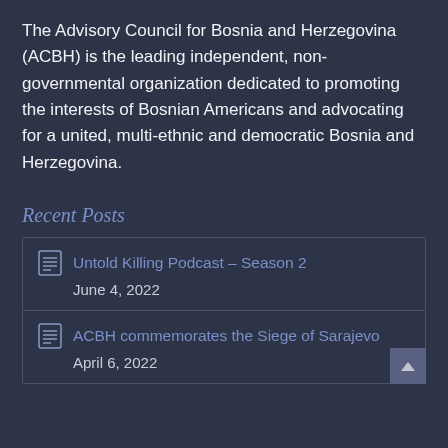The Advisory Council for Bosnia and Herzegovina (ACBH) is the leading independent, non-governmental organization dedicated to promoting the interests of Bosnian Americans and advocating for a united, multi-ethnic and democratic Bosnia and Herzegovina.
Recent Posts
Untold Killing Podcast – Season 2
June 4, 2022
ACBH commemorates the Siege of Sarajevo
April 6, 2022